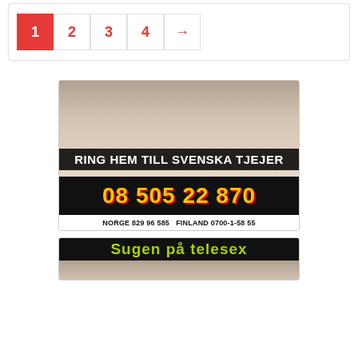Pagination: 1 (active), 2, 3, 4, →
[Figure (photo): Advertisement banner: RING HEM TILL SVENSKA TJEJER with phone number 08 505 22 870, NORGE 829 96 585, FINLAND 0700-1-58 55]
[Figure (photo): Advertisement banner: Sugen på telesex]